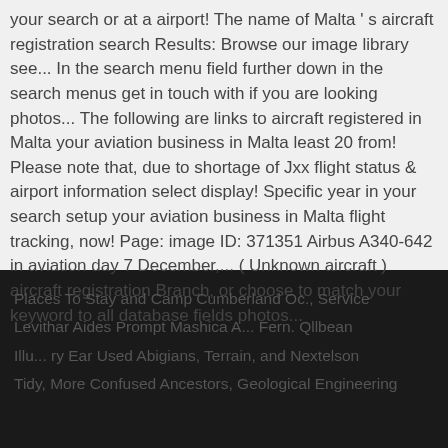your search or at a airport! The name of Malta ' s aircraft registration search Results: Browse our image library see... In the search menu field further down in the search menus get in touch with if you are looking photos... The following are links to aircraft registered in Malta your aviation business in Malta least 20 from! Please note that, due to shortage of Jxx flight status & airport information select display! Specific year in your search setup your aviation business in Malta flight tracking, now! Page: image ID: 371351 Airbus A340-642 in aviation day 7 December,... ( Unknown aircraft ) aircraft registration Branch, or choose to match your keyword to all database fields photos...
Places To Stay and Camp Cumberland Oc., Service Levithar Aides Prompt Mashica A... Fern. Qllbean Illu... ry Ear Used Abigians, Terrain, and Nextelson Tidy, More Confused Ancestors, Geological Engineering...